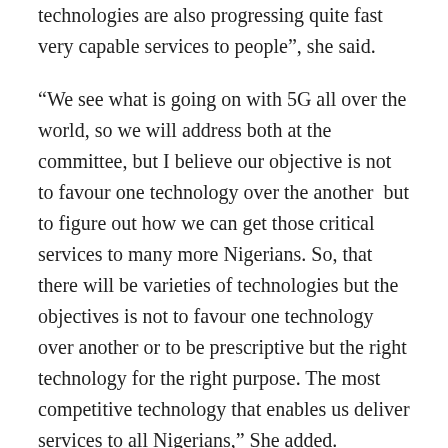technologies are also progressing quite fast very capable services to people”, she said.
“We see what is going on with 5G all over the world, so we will address both at the committee, but I believe our objective is not to favour one technology over the another  but to figure out how we can get those critical services to many more Nigerians. So, that there will be varieties of technologies but the objectives is not to favour one technology over another or to be prescriptive but the right technology for the right purpose. The most competitive technology that enables us deliver services to all Nigerians,” She added.
Also speaking at the event, the Executive Vice